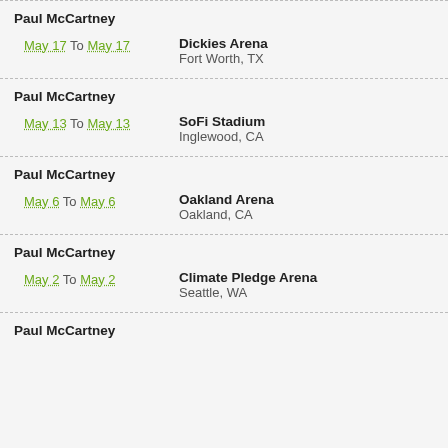Paul McCartney
May 17 To May 17
Dickies Arena
Fort Worth, TX
Paul McCartney
May 13 To May 13
SoFi Stadium
Inglewood, CA
Paul McCartney
May 6 To May 6
Oakland Arena
Oakland, CA
Paul McCartney
May 2 To May 2
Climate Pledge Arena
Seattle, WA
Paul McCartney